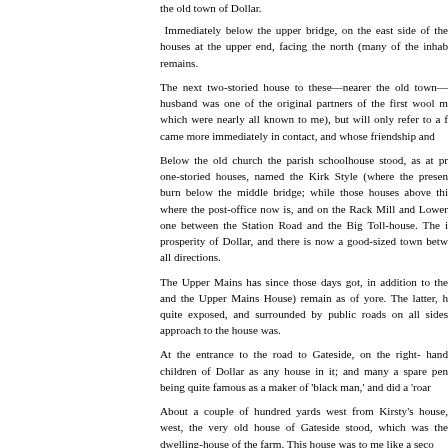the old town of Dollar.
Immediately below the upper bridge, on the east side of the houses at the upper end, facing the north (many of the inhab remains.
The next two-storied house to these—nearer the old town— husband was one of the original partners of the first wool m which were nearly all known to me), but will only refer to a f came more immediately in contact, and whose friendship and
Below the old church the parish schoolhouse stood, as at pr one-storied houses, named the Kirk Style (where the presen burn below the middle bridge; while those houses above thi where the post-office now is, and on the Rack Mill and Lower one between the Station Road and the Big Toll-house. The i prosperity of Dollar, and there is now a good-sized town betw all directions.
The Upper Mains has since those days got, in addition to the and the Upper Mains House) remain as of yore. The latter, h quite exposed, and surrounded by public roads on all sides approach to the house was.
At the entrance to the road to Gateside, on the right- hand children of Dollar as any house in it; and many a spare pen being quite famous as a maker of 'black man,' and did a 'roar
About a couple of hundred yards west from Kirsty's house, west, the very old house of Gateside stood, which was the dwelling-house of the farm. This house was to me like a seco
No more worthy couple than Mr. and Mrs. Robert Wright—th home was a model of domestic happiness and bliss.
A very antique bed stood in one of the rooms of this, house, —very probably after the destruction of his castle by the Duk west end of which it stood.
Being the principal companions of my youth, I will here give th
Robert established an excellent business as a writer in Gree